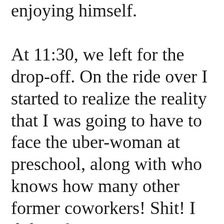enjoying himself.

At 11:30, we left for the drop-off. On the ride over I started to realize the reality that I was going to have to face the uber-woman at preschool, along with who knows how many other former coworkers! Shit! I did not have time to conjure up a decent storyline for myself. No time to call in the spin-doctors to make what I have done with myself in the two years since leaving that job seem full